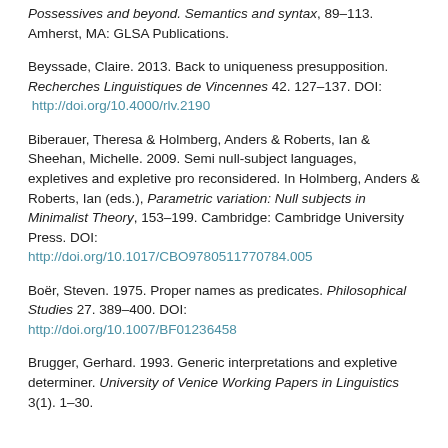Possessives and beyond. Semantics and syntax, 89–113. Amherst, MA: GLSA Publications.
Beyssade, Claire. 2013. Back to uniqueness presupposition. Recherches Linguistiques de Vincennes 42. 127–137. DOI: http://doi.org/10.4000/rlv.2190
Biberauer, Theresa & Holmberg, Anders & Roberts, Ian & Sheehan, Michelle. 2009. Semi null-subject languages, expletives and expletive pro reconsidered. In Holmberg, Anders & Roberts, Ian (eds.), Parametric variation: Null subjects in Minimalist Theory, 153–199. Cambridge: Cambridge University Press. DOI: http://doi.org/10.1017/CBO9780511770784.005
Boër, Steven. 1975. Proper names as predicates. Philosophical Studies 27. 389–400. DOI: http://doi.org/10.1007/BF01236458
Brugger, Gerhard. 1993. Generic interpretations and expletive determiner. University of Venice Working Papers in Linguistics 3(1). 1–30.